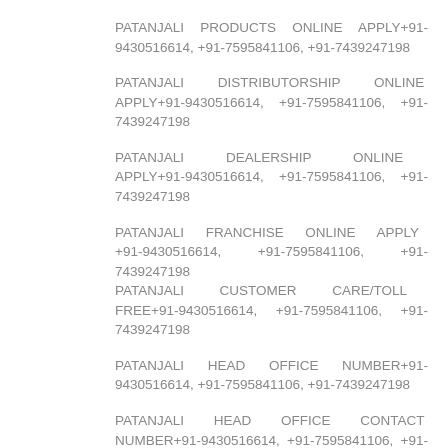PATANJALI PRODUCTS ONLINE APPLY+91-9430516614, +91-7595841106, +91-7439247198
PATANJALI DISTRIBUTORSHIP ONLINE APPLY+91-9430516614, +91-7595841106, +91-7439247198
PATANJALI DEALERSHIP ONLINE APPLY+91-9430516614, +91-7595841106, +91-7439247198
PATANJALI FRANCHISE ONLINE APPLY +91-9430516614, +91-7595841106, +91-7439247198 PATANJALI CUSTOMER CARE/TOLL FREE+91-9430516614, +91-7595841106, +91-7439247198
PATANJALI HEAD OFFICE NUMBER+91-9430516614, +91-7595841106, +91-7439247198
PATANJALI HEAD OFFICE CONTACT NUMBER+91-9430516614, +91-7595841106, +91-7439247198
PATANJALI HELPLINE NUMBER+91-9430516614, +91-7595841106, +91-7439247198